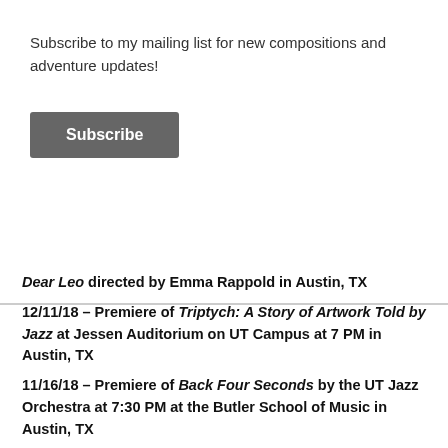Subscribe to my mailing list for new compositions and adventure updates!
Subscribe
Dear Leo directed by Emma Rappold in Austin, TX
12/11/18 – Premiere of Triptych: A Story of Artwork Told by Jazz at Jessen Auditorium on UT Campus at 7 PM in Austin, TX
11/16/18 – Premiere of Back Four Seconds by the UT Jazz Orchestra at 7:30 PM at the Butler School of Music in Austin, TX
10/8/18 – Second performance and public premiere of Two Squared Equals Five for string quartet at UT